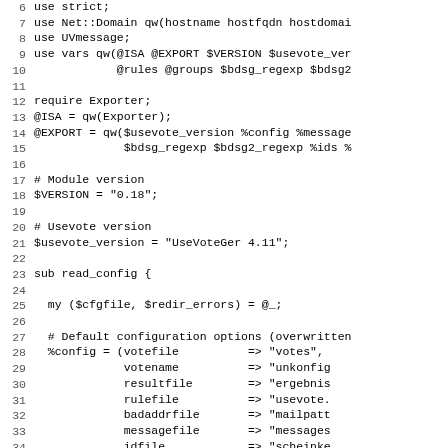Source code listing showing Perl module initialization. Lines 6-37 showing use strict, Net::Domain import, UVmessage, vars declaration, require Exporter, @ISA, @EXPORT, $VERSION, $usevote_version, sub read_config, my ($cfgfile, $redir_errors) = @_, and %config hash initialization with votefile, votename, resultfile, rulefile, baddrfile, messagefile, idfile, requestfile, errorfile, lockfile keys.